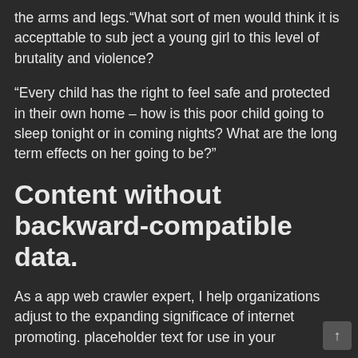the arms and legs.“What sort of men would think it is accepttable to sub ject a young girl to this level of brutality and violence?
“Every child has the right to feel safe and protected in their own home – how is this poor child going to sleep tonight or in coming nights? What are the long term effects on her going to be?”
Content without backward-compatible data.
As a app web crawler expert, I help organizations adjust to the expanding significace of internet promoting. placeholder text for use in your